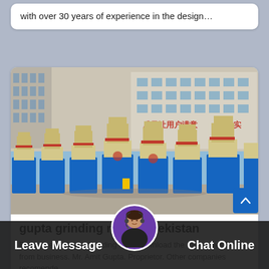with over 30 years of experience in the design…
[Figure (photo): Row of beige/cream industrial grinding mill machines lined up in a factory yard, with a large multi-story building with Chinese text in the background. Blue sky visible.]
gupta grinding mills uzbekistan
Executives - Gupta Grinding Mills Download the executives list from business. Mr. Amit Gupta. Proprietor. Other companies recomende…
Leave Message
Chat Online